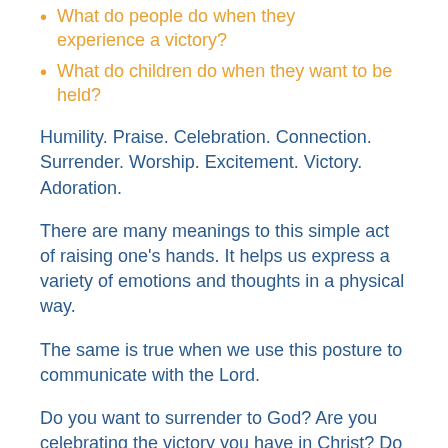What do people do when they experience a victory?
What do children do when they want to be held?
Humility. Praise. Celebration. Connection. Surrender. Worship. Excitement. Victory. Adoration.
There are many meanings to this simple act of raising one's hands. It helps us express a variety of emotions and thoughts in a physical way.
The same is true when we use this posture to communicate with the Lord.
Do you want to surrender to God? Are you celebrating the victory you have in Christ? Do you simply need to be held by your Father? Is your